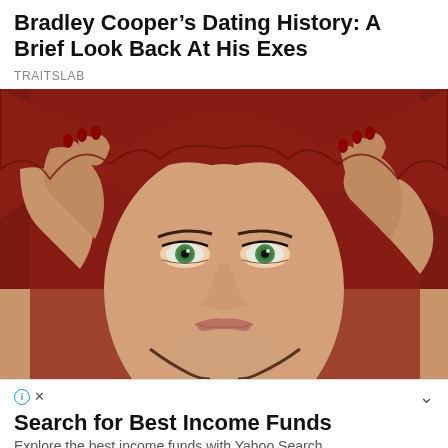Bradley Cooper’s Dating History: A Brief Look Back At His Exes
TRAITSLAB
[Figure (photo): Close-up portrait of a woman with striking green eyes, pulling a dark red knit fabric over her head with both hands, red nails visible.]
Search for Best Income Funds
Explore the best income funds with Yahoo Search.
continue